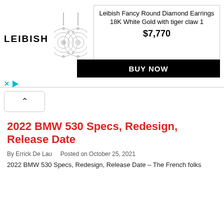[Figure (other): Leibish jewelry advertisement banner showing diamond earrings, price $7,770, and BUY NOW button]
2022 BMW 530 Specs, Redesign, Release Date
By Errick De Lau   Posted on October 25, 2021
2022 BMW 530 Specs, Redesign, Release Date – The French folks